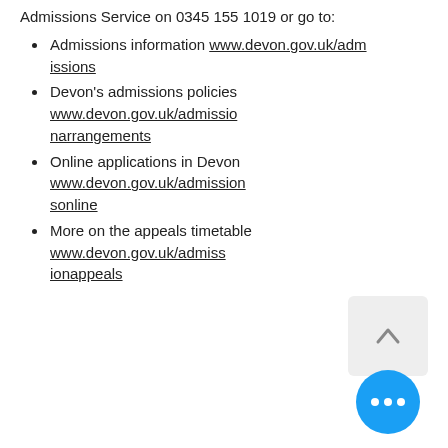Admissions Service on 0345 155 1019 or go to:
Admissions information www.devon.gov.uk/admissions
Devon's admissions policies www.devon.gov.uk/admissionarrangements
Online applications in Devon www.devon.gov.uk/admissionsonline
More on the appeals timetable www.devon.gov.uk/admissionappeals